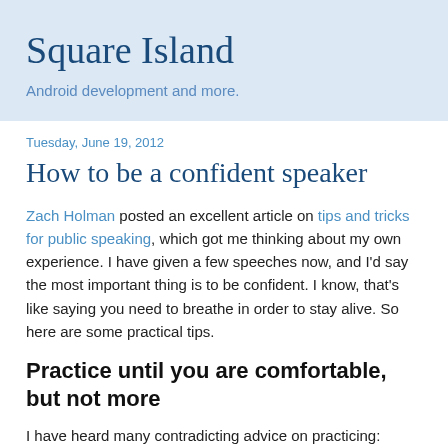Square Island
Android development and more.
Tuesday, June 19, 2012
How to be a confident speaker
Zach Holman posted an excellent article on tips and tricks for public speaking, which got me thinking about my own experience. I have given a few speeches now, and I'd say the most important thing is to be confident. I know, that's like saying you need to breathe in order to stay alive. So here are some practical tips.
Practice until you are comfortable, but not more
I have heard many contradicting advice on practicing: practice until you memorize your speech, don't memorize your slides